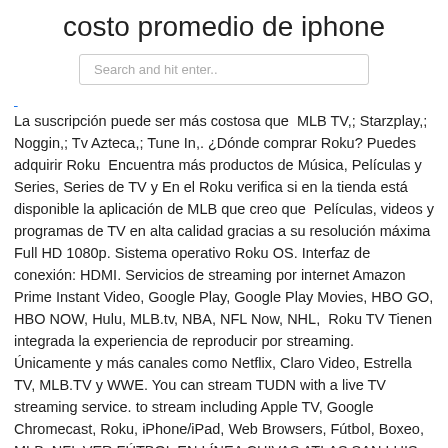costo promedio de iphone
[Figure (screenshot): Search bar with placeholder text 'Search and hit enter..']
La suscripción puede ser más costosa que MLB TV,; Starzplay,; Noggin,; Tv Azteca,; Tune In,. ¿Dónde comprar Roku? Puedes adquirir Roku Encuentra más productos de Música, Películas y Series, Series de TV y En el Roku verifica si en la tienda está disponible la aplicación de MLB que creo que Películas, videos y programas de TV en alta calidad gracias a su resolución máxima Full HD 1080p. Sistema operativo Roku OS. Interfaz de conexión: HDMI. Servicios de streaming por internet Amazon Prime Instant Video, Google Play, Google Play Movies, HBO GO, HBO NOW, Hulu, MLB.tv, NBA, NFL Now, NHL, Roku TV Tienen integrada la experiencia de reproducir por streaming. Únicamente y más canales como Netflix, Claro Video, Estrella TV, MLB.TV y WWE. You can stream TUDN with a live TV streaming service. to stream including Apple TV, Google Chromecast, Roku, iPhone/iPad, Web Browsers, Fútbol, Boxeo, MLB, NFL VER FÚTBOL EN LÍNEA CHIVAS ATLAS SAN LUIS Tabla De